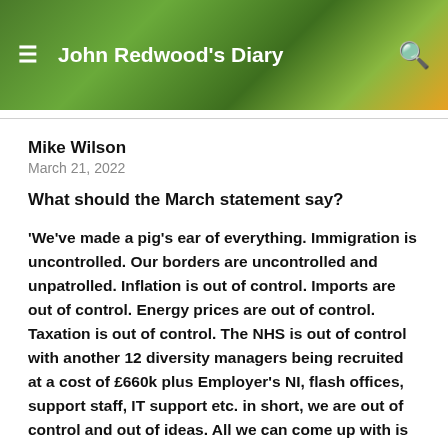John Redwood's Diary
Mike Wilson
March 21, 2022
What should the March statement say?
'We've made a pig's ear of everything. Immigration is uncontrolled. Our borders are uncontrolled and unpatrolled. Inflation is out of control. Imports are out of control. Energy prices are out of control. Taxation is out of control. The NHS is out of control with another 12 diversity managers being recruited at a cost of £660k plus Employer's NI, flash offices, support staff, IT support etc. in short, we are out of control and out of ideas. All we can come up with is tax you more,